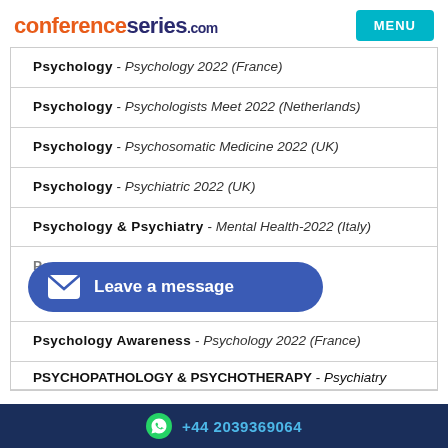conferenceseries.com | MENU
Psychology - Psychology 2022 (France)
Psychology - Psychologists Meet 2022 (Netherlands)
Psychology - Psychosomatic Medicine 2022 (UK)
Psychology - Psychiatric 2022 (UK)
Psychology & Psychiatry - Mental Health-2022 (Italy)
Psychology & Psychiatry - MENTAL HEALTH CONGRESS 2022 (Spain)
Psychology Awareness - Psychology 2022 (France)
PSYCHOPATHOLOGY & PSYCHOTHERAPY - Psychiatry
+44 2039369064